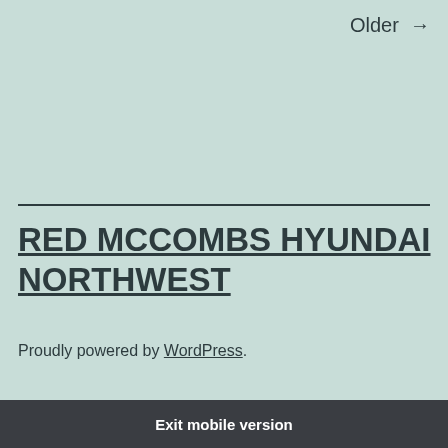Older →
RED MCCOMBS HYUNDAI NORTHWEST
Proudly powered by WordPress.
Exit mobile version